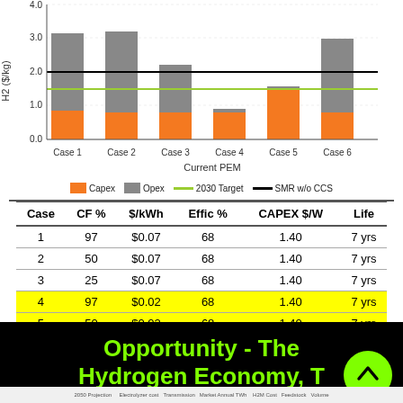[Figure (stacked-bar-chart): Current PEM]
| Case | CF % | $/kWh | Effic % | CAPEX $/W | Life |
| --- | --- | --- | --- | --- | --- |
| 1 | 97 | $0.07 | 68 | 1.40 | 7 yrs |
| 2 | 50 | $0.07 | 68 | 1.40 | 7 yrs |
| 3 | 25 | $0.07 | 68 | 1.40 | 7 yrs |
| 4 | 97 | $0.02 | 68 | 1.40 | 7 yrs |
| 5 | 50 | $0.02 | 68 | 1.40 | 7 yrs |
| 6 | 25 | $0.02 | 68 | 1.40 | 7 yrs |
[Figure (screenshot): Black slide thumbnail with green text reading 'Opportunity - The Hydrogen Economy, T...' with a green circular arrow button]